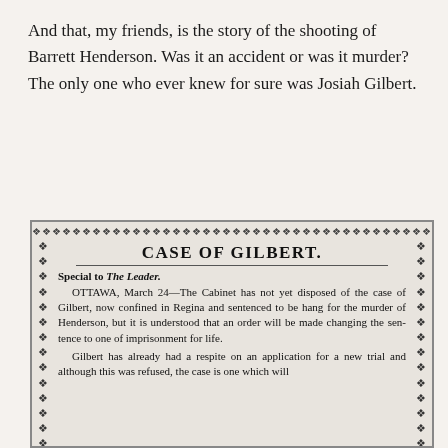And that, my friends, is the story of the shooting of Barrett Henderson. Was it an accident or was it murder? The only one who ever knew for sure was Josiah Gilbert.
[Figure (other): Newspaper clipping with decorative diamond border. Headline reads 'CASE OF GILBERT.' followed by 'Special to The Leader.' Dateline: OTTAWA, March 24—The Cabinet has not yet disposed of the case of Gilbert, now confined in Regina and sentenced to be hang- for the murder of Henderson, but it is understood that an order will be made changing the sentence to one of imprisonment for life. Gilbert has already had a re- spite on an application for a new trial and although this was re- fused, the case is one which will]